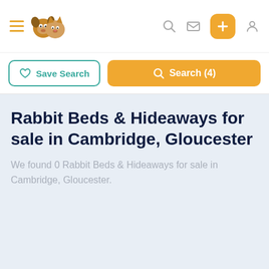Navigation bar with hamburger menu, pet logo, search icon, mail icon, plus button, and user icon
Save Search | Search (4)
Rabbit Beds & Hideaways for sale in Cambridge, Gloucester
We found 0 Rabbit Beds & Hideaways for sale in Cambridge, Gloucester.